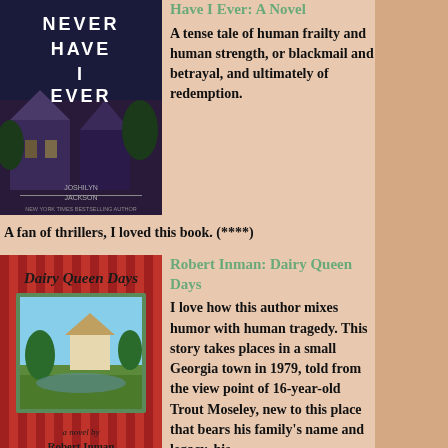[Figure (illustration): Book cover of 'Never Have I Ever: A Novel' by Joshilyn Jackson. Dark blue/purple night scene with suburban houses and trees silhouette. White block text reads NEVER HAVE I EVER. Author name at bottom.]
Have I Ever: A Novel
A tense tale of human frailty and human strength, or blackmail and betrayal, and ultimately of redemption. A fan of thrillers, I loved this book. (****)
[Figure (illustration): Book cover of 'Dairy Queen Days' by Robert Inman. Red and dark red vertical striped background. Italic script title at top. Center shows a framed landscape painting with house, trees, and water. Author's name in black text near bottom.]
Robert Inman: Dairy Queen Days
I love how this author mixes humor with human tragedy. This story takes places in a small Georgia town in 1979, told from the view point of 16-year-old Trout Moseley, new to this place that bears his family's name and legacy, his mother is a patient in an Atlanta psychiatric facility and his father -- a 300-pound motorcycle-riding Methodist minister -- is delivering scandalous